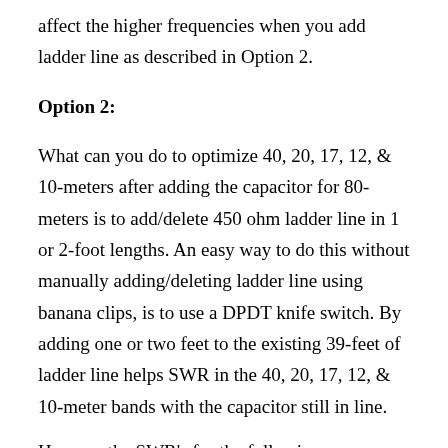affect the higher frequencies when you add ladder line as described in Option 2.
Option 2:
What can you do to optimize 40, 20, 17, 12, & 10-meters after adding the capacitor for 80-meters is to add/delete 450 ohm ladder line in 1 or 2-foot lengths. An easy way to do this without manually adding/deleting ladder line using banana clips, is to use a DPDT knife switch. By adding one or two feet to the existing 39-feet of ladder line helps SWR in the 40, 20, 17, 12, & 10-meter bands with the capacitor still in line.
Here are the SWR's for the following frequency's with